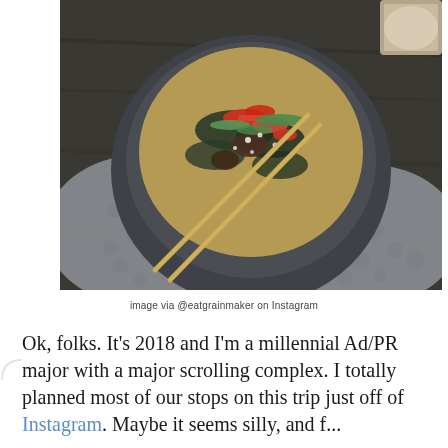[Figure (photo): Overhead view of a person in a gray fleece sweater holding a dark ceramic bowl of Asian soup/ramen with chopsticks resting on top. The bowl contains broth, vegetables, red peppers, and green onions. Taken from above on a wooden table surface.]
image via @eatgrainmaker on Instagram
Ok, folks. It's 2018 and I'm a millennial Ad/PR major with a major scrolling complex. I totally planned most of our stops on this trip just off of Instagram. Maybe it seems silly, and f...